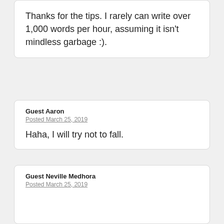Thanks for the tips. I rarely can write over 1,000 words per hour, assuming it isn't mindless garbage :).
Guest Aaron
Posted March 25, 2019
Haha, I will try not to fall.
Guest Neville Medhora
Posted March 25, 2019
Very welcome Jonathan, I wouldn't sweat the 1,000 words thing. So long as the post is GOOD, I don't care about the length!